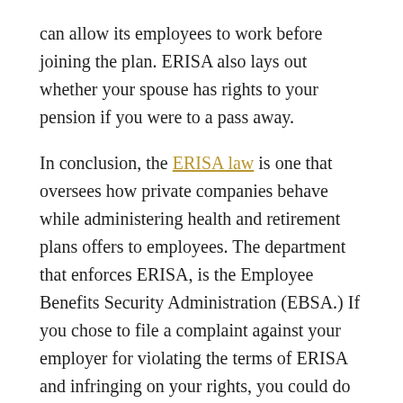can allow its employees to work before joining the plan. ERISA also lays out whether your spouse has rights to your pension if you were to a pass away.
In conclusion, the ERISA law is one that oversees how private companies behave while administering health and retirement plans offers to employees. The department that enforces ERISA, is the Employee Benefits Security Administration (EBSA.) If you chose to file a complaint against your employer for violating the terms of ERISA and infringing on your rights, you could do so by contacting a Department of Labor office or contact an attorney who specializes in ERISA cases.